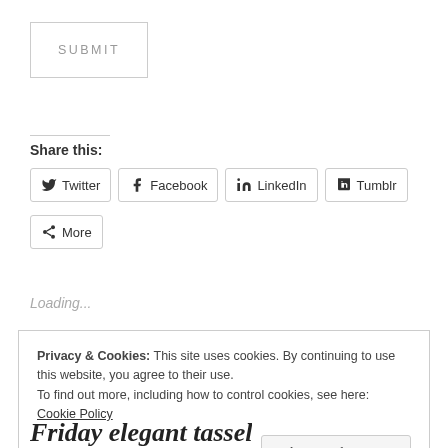SUBMIT
Share this:
Twitter
Facebook
LinkedIn
Tumblr
More
Loading...
Privacy & Cookies: This site uses cookies. By continuing to use this website, you agree to their use.
To find out more, including how to control cookies, see here: Cookie Policy
Close and accept
Friday elegant tassel